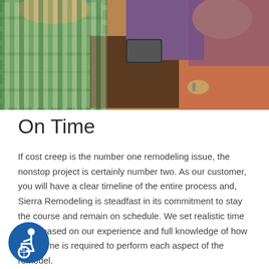[Figure (photo): Photo of people sitting at a table, one person wearing a plaid shirt and another in purple, partial view from above]
On Time
If cost creep is the number one remodeling issue, the nonstop project is certainly number two. As our customer, you will have a clear timeline of the entire process and, Sierra Remodeling is steadfast in its commitment to stay the course and remain on schedule. We set realistic time goals based on our experience and full knowledge of how much time is required to perform each aspect of the remodel.
Sierra Remodeling strives to keep your remodeling or home building project on track, through what we call Time Management:
[Figure (illustration): Accessibility icon - blue circle with wheelchair user symbol]